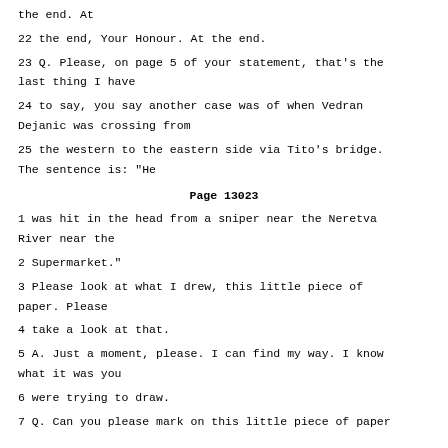the end. At
22 the end, Your Honour. At the end.
23 Q. Please, on page 5 of your statement, that's the last thing I have
24 to say, you say another case was of when Vedran Dejanic was crossing from
25 the western to the eastern side via Tito's bridge. The sentence is: "He
Page 13023
1 was hit in the head from a sniper near the Neretva River near the
2 Supermarket."
3 Please look at what I drew, this little piece of paper. Please
4 take a look at that.
5 A. Just a moment, please. I can find my way. I know what it was you
6 were trying to draw.
7 Q. Can you please mark on this little piece of paper